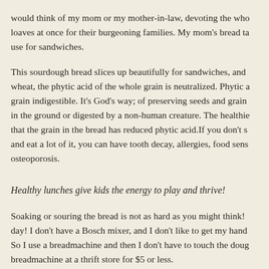would think of my mom or my mother-in-law, devoting the whole day to baking loaves at once for their burgeoning families. My mom's bread takes hours to use for sandwiches.
This sourdough bread slices up beautifully for sandwiches, and when made with wheat, the phytic acid of the whole grain is neutralized. Phytic acid makes the grain indigestible. It's God's way; of preserving seeds and grains until planted in the ground or digested by a non-human creature. The healthier breads ensure that the grain in the bread has reduced phytic acid.If you don't soak your grain and eat a lot of it, you can have tooth decay, allergies, food sensitivities, and osteoporosis.
Healthy lunches give kids the energy to play and thrive!
Soaking or souring the bread is not as hard as you might think! I do it every day! I don't have a Bosch mixer, and I don't like to get my hands in the dough. So I use a breadmachine and then I don't have to touch the dough. I got my breadmachine at a thrift store for $5 or less.